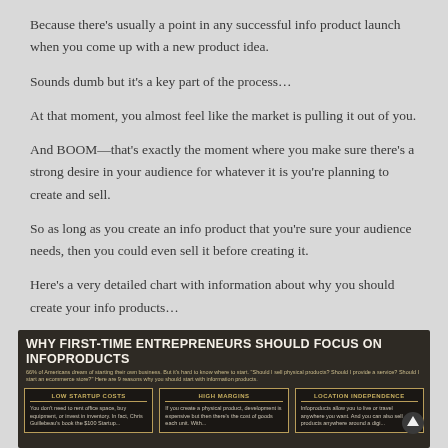Because there’s usually a point in any successful info product launch when you come up with a new product idea.
Sounds dumb but it’s a key part of the process…
At that moment, you almost feel like the market is pulling it out of you.
And BOOM—that’s exactly the moment where you make sure there’s a strong desire in your audience for whatever it is you’re planning to create and sell.
So as long as you create an info product that you’re sure your audience needs, then you could even sell it before creating it.
Here’s a very detailed chart with information about why you should create your info products…
[Figure (infographic): Infographic titled 'WHY FIRST-TIME ENTREPRENEURS SHOULD FOCUS ON INFOPRODUCTS'. Subtitle: '66% of Americans dream of starting their own business. But it’s hard to know where to start. "Should I sell physical products? Should I provide a service? Should I start an ecommerce store?" Here are 9 reasons why you should start with information products.' Three columns visible: LOW STARTUP COSTS, HIGH MARGINS, LOCATION INDEPENDENCE, each with descriptive text on dark background with gold borders.]